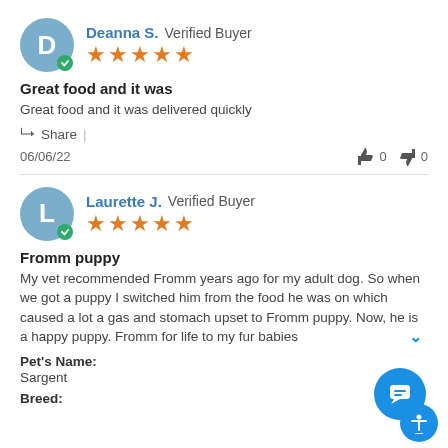Deanna S. Verified Buyer ★★★★★
Great food and it was
Great food and it was delivered quickly
Share |
06/06/22   👍 0  👎 0
Laurette J. Verified Buyer ★★★★★
Fromm puppy
My vet recommended Fromm years ago for my adult dog. So when we got a puppy I switched him from the food he was on which caused a lot a gas and stomach upset to Fromm puppy. Now, he is a happy puppy. Fromm for life to my fur babies
Pet's Name:
Sargent
Breed: